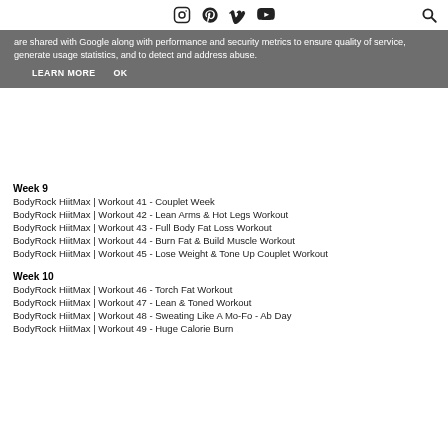Social icons: Instagram, Pinterest, Vimeo, YouTube, Search
are shared with Google along with performance and security metrics to ensure quality of service, generate usage statistics, and to detect and address abuse.
LEARN MORE   OK
Week 9
BodyRock HiitMax | Workout 41 - Couplet Week
BodyRock HiitMax | Workout 42 - Lean Arms & Hot Legs Workout
BodyRock HiitMax | Workout 43 - Full Body Fat Loss Workout
BodyRock HiitMax | Workout 44 - Burn Fat & Build Muscle Workout
BodyRock HiitMax | Workout 45 - Lose Weight & Tone Up Couplet Workout
Week 10
BodyRock HiitMax | Workout 46 - Torch Fat Workout
BodyRock HiitMax | Workout 47 - Lean & Toned Workout
BodyRock HiitMax | Workout 48 - Sweating Like A Mo-Fo - Ab Day
BodyRock HiitMax | Workout 49 - Huge Calorie Burn